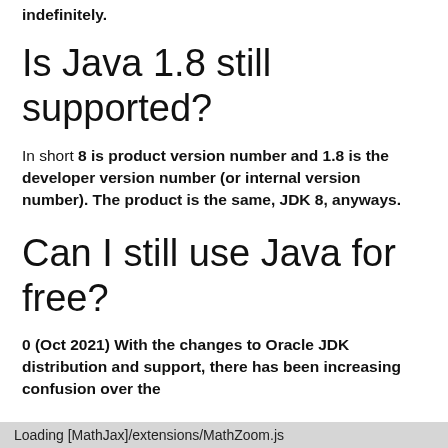indefinitely.
Is Java 1.8 still supported?
In short 8 is product version number and 1.8 is the developer version number (or internal version number). The product is the same, JDK 8, anyways.
Can I still use Java for free?
0 (Oct 2021) With the changes to Oracle JDK distribution and support, there has been increasing confusion over the
Loading [MathJax]/extensions/MathZoom.js